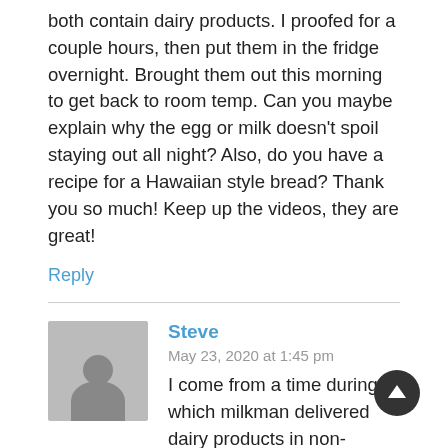both contain dairy products. I proofed for a couple hours, then put them in the fridge overnight. Brought them out this morning to get back to room temp. Can you maybe explain why the egg or milk doesn't spoil staying out all night? Also, do you have a recipe for a Hawaiian style bread? Thank you so much! Keep up the videos, they are great!
Reply
Steve
May 23, 2020 at 1:45 pm
I come from a time during which milkman delivered dairy products in non-refrigerated trucks and left them in a box on the door step. And prior to refrigeration the French proofed brioche for hour in their bakeries. But times have changed...